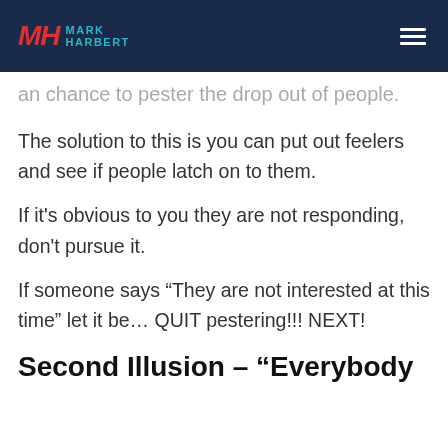MH MARK HARBERT
an chance to pester the drop out of people.
The solution to this is you can put out feelers and see if people latch on to them.
If it's obvious to you they are not responding, don't pursue it.
If someone says “They are not interested at this time” let it be… QUIT pestering!!! NEXT!
Second Illusion – “Everybody